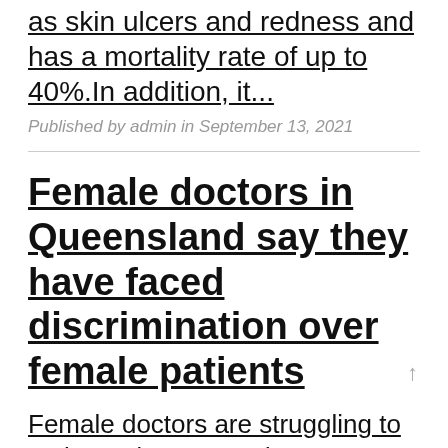as skin ulcers and redness and has a mortality rate of up to 40%.In addition, it...
Published by admin in September 13, 2021
Female doctors in Queensland say they have faced discrimination over female patients
Female doctors are struggling to make ends meet and are